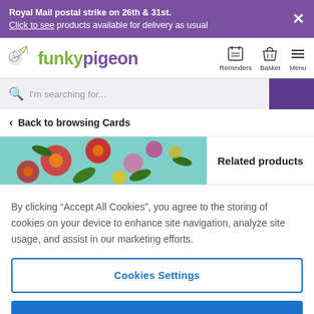Royal Mail postal strike on 26th & 31st. Click to see products available for delivery as usual
[Figure (logo): Funky Pigeon logo with pigeon icon and green/purple wordmark]
I'm searching for...
< Back to browsing Cards
[Figure (photo): Floral card product image with red, pink and blue tropical flowers on teal background]
Related products
By clicking “Accept All Cookies”, you agree to the storing of cookies on your device to enhance site navigation, analyze site usage, and assist in our marketing efforts.
Cookies Settings
Reject All